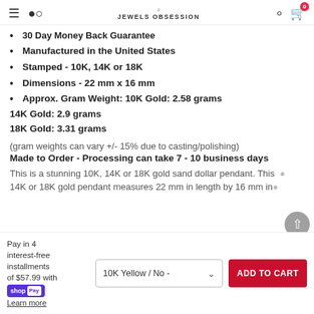JEWELS OBSESSION
30 Day Money Back Guarantee
Manufactured in the United States
Stamped - 10K, 14K or 18K
Dimensions - 22 mm x 16 mm
Approx. Gram Weight: 10K Gold: 2.58 grams
14K Gold: 2.9 grams
18K Gold: 3.31 grams
(gram weights can vary +/- 15% due to casting/polishing)
Made to Order - Processing can take 7 - 10 business days
This is a stunning 10K, 14K or 18K gold sand dollar pendant. This 14K or 18K gold pendant measures 22 mm in length by 16 mm in…